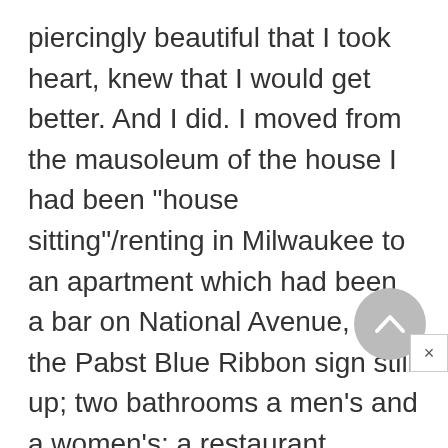piercingly beautiful that I took heart, knew that I would get better. And I did. I moved from the mausoleum of the house I had been "house sitting"/renting in Milwaukee to an apartment which had been a bar on National Avenue, with the Pabst Blue Ribbon sign still up; two bathrooms a men's and a women's; a restaurant kitchen; and a big sign in front of the window of the Marlboro Man. My concentration was fierce, and on the last day I was in Milwaukee, I finished